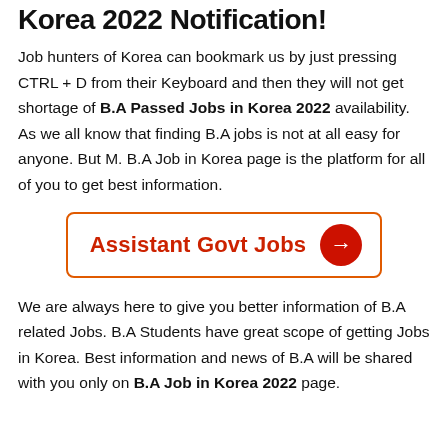Korea 2022 Notification!
Job hunters of Korea can bookmark us by just pressing CTRL + D from their Keyboard and then they will not get shortage of B.A Passed Jobs in Korea 2022 availability. As we all know that finding B.A jobs is not at all easy for anyone. But M. B.A Job in Korea page is the platform for all of you to get best information.
[Figure (other): Button labeled 'Assistant Govt Jobs' with red text in an orange border box and a red circle with a right arrow icon]
We are always here to give you better information of B.A related Jobs. B.A Students have great scope of getting Jobs in Korea. Best information and news of B.A will be shared with you only on B.A Job in Korea 2022 page.